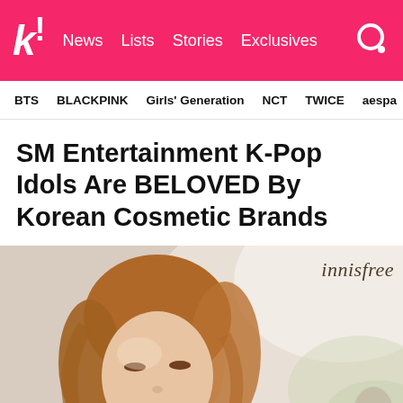k! News Lists Stories Exclusives
BTS BLACKPINK Girls' Generation NCT TWICE aespa
SM Entertainment K-Pop Idols Are BELOVED By Korean Cosmetic Brands
[Figure (photo): Young woman with auburn/reddish hair smiling, with innisfree brand logo in top right corner. Soft, bright background suggesting outdoor setting. Advertisement-style photo for cosmetic brand innisfree.]